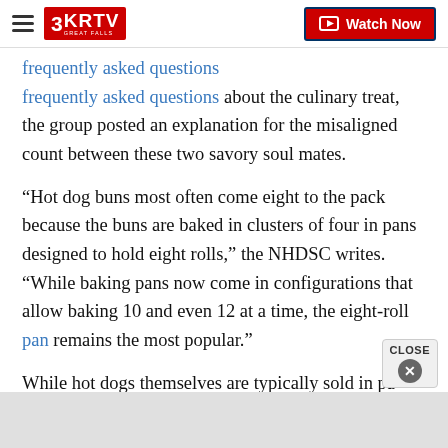3KRTV GREAT FALLS | Watch Now
frequently asked questions about the culinary treat, the group posted an explanation for the misaligned count between these two savory soul mates.
“Hot dog buns most often come eight to the pack because the buns are baked in clusters of four in pans designed to hold eight rolls,” the NHDSC writes. “While baking pans now come in configurations that allow baking 10 and even 12 at a time, the eight-roll pan remains the most popular.”
While hot dogs themselves are typically sold in pa